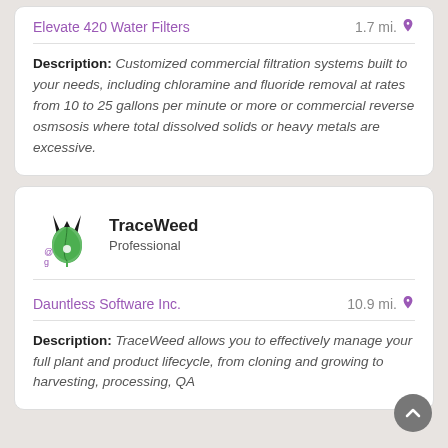Elevate 420 Water Filters   1.7 mi.
Description: Customized commercial filtration systems built to your needs, including chloramine and fluoride removal at rates from 10 to 25 gallons per minute or more or commercial reverse osmsosis where total dissolved solids or heavy metals are excessive.
[Figure (logo): TraceWeed cannabis leaf logo in black and green]
TraceWeed Professional
Dauntless Software Inc.   10.9 mi.
Description: TraceWeed allows you to effectively manage your full plant and product lifecycle, from cloning and growing to harvesting, processing, QA